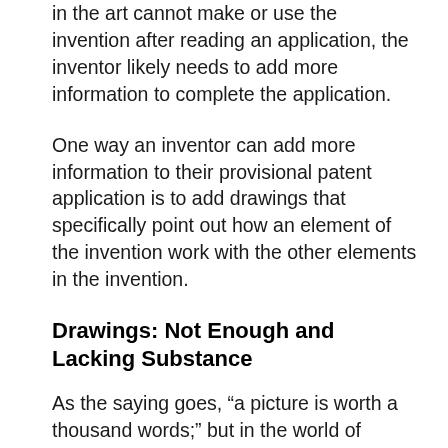in the art cannot make or use the invention after reading an application, the inventor likely needs to add more information to complete the application.
One way an inventor can add more information to their provisional patent application is to add drawings that specifically point out how an element of the invention work with the other elements in the invention.
Drawings: Not Enough and Lacking Substance
As the saying goes, “a picture is worth a thousand words;” but in the world of patents, a picture may be worth even more.  As previously stated, drawings may be a great way to show persons skilled in the